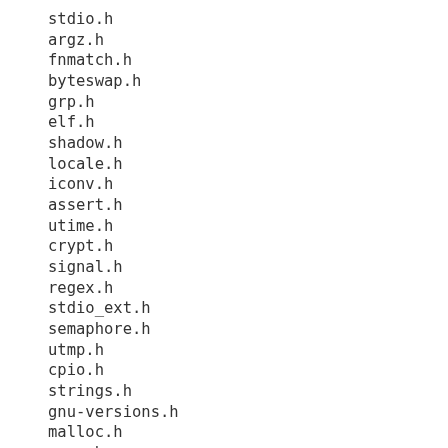stdio.h
argz.h
fnmatch.h
byteswap.h
grp.h
elf.h
shadow.h
locale.h
iconv.h
assert.h
utime.h
crypt.h
signal.h
regex.h
stdio_ext.h
semaphore.h
utmp.h
cpio.h
strings.h
gnu-versions.h
malloc.h
argp.h